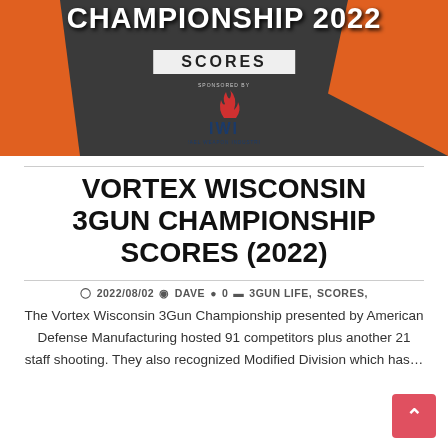[Figure (illustration): Championship 2022 Scores banner graphic with dark gray background, orange accents on corners, bold white text reading CHAMPIONSHIP 2022, and a white box with SCORES text. IWI Israel Weapon Industries logo below with flame icon.]
VORTEX WISCONSIN 3GUN CHAMPIONSHIP SCORES (2022)
2022/08/02  DAVE  0  3GUN LIFE,  SCORES,
The Vortex Wisconsin 3Gun Championship presented by American Defense Manufacturing hosted 91 competitors plus another 21 staff shooting. They also recognized Modified Division which has…